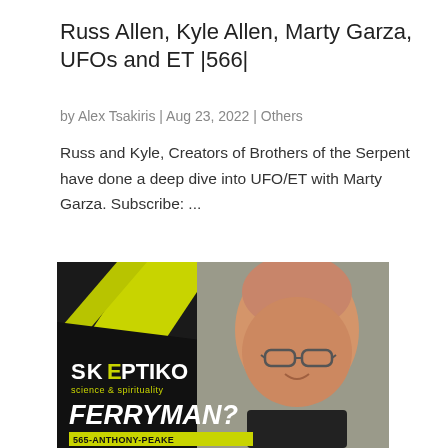Russ Allen, Kyle Allen, Marty Garza, UFOs and ET |566|
by Alex Tsakiris | Aug 23, 2022 | Others
Russ and Kyle, Creators of Brothers of the Serpent have done a deep dive into UFO/ET with Marty Garza. Subscribe: ...
[Figure (photo): Skeptiko podcast cover art showing an older bald man with glasses smiling, with black and yellow-green geometric design, text reading SKEPTIKO science & spirituality, FERRYMAN?, and 565-ANTHONY-PEAKE]